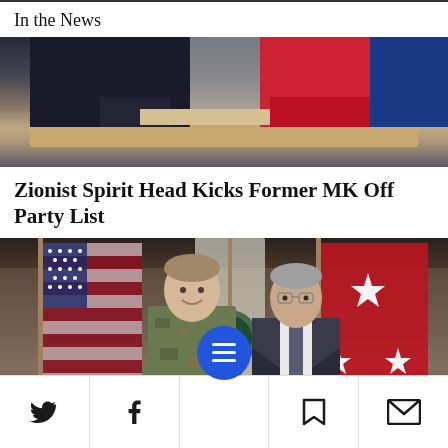In the News
[Figure (photo): Cropped photo of two people standing at a podium, one wearing a dark jacket and one wearing a red/crimson jacket, from the waist down, with a wood-toned podium visible]
Zionist Spirit Head Kicks Former MK Off Party List
[Figure (photo): Two men standing in front of flags including an American flag and a red military flag with stars. One man is in military camouflage uniform and the other is in a dark business suit.]